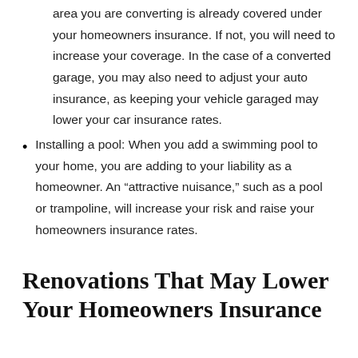area you are converting is already covered under your homeowners insurance. If not, you will need to increase your coverage. In the case of a converted garage, you may also need to adjust your auto insurance, as keeping your vehicle garaged may lower your car insurance rates.
Installing a pool: When you add a swimming pool to your home, you are adding to your liability as a homeowner. An “attractive nuisance,” such as a pool or trampoline, will increase your risk and raise your homeowners insurance rates.
Renovations That May Lower Your Homeowners Insurance